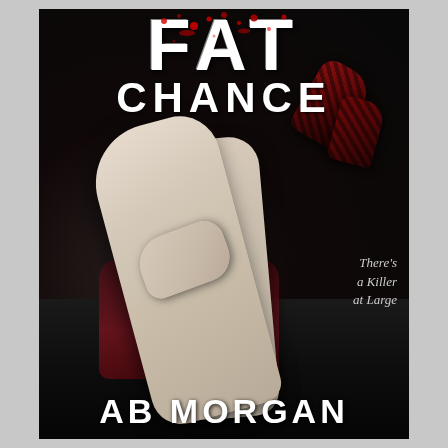[Figure (illustration): Book cover for 'Fat Chance' by AB Morgan. Dark background with a woman's pale legs raised in the air wearing red and black zebra-striped high heel shoes, with red lace stockings and black patent leather clothing visible at the bottom. Hands are visible on the legs. The cover is a thriller/crime novel.]
FAT CHANCE
There's a Killer at Large
AB MORGAN